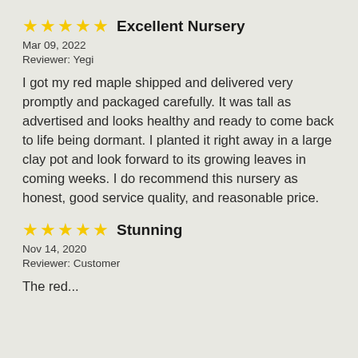★★★★★ Excellent Nursery
Mar 09, 2022
Reviewer: Yegi
I got my red maple shipped and delivered very promptly and packaged carefully. It was tall as advertised and looks healthy and ready to come back to life being dormant. I planted it right away in a large clay pot and look forward to its growing leaves in coming weeks. I do recommend this nursery as honest, good service quality, and reasonable price.
★★★★★ Stunning
Nov 14, 2020
Reviewer: Customer
The red...